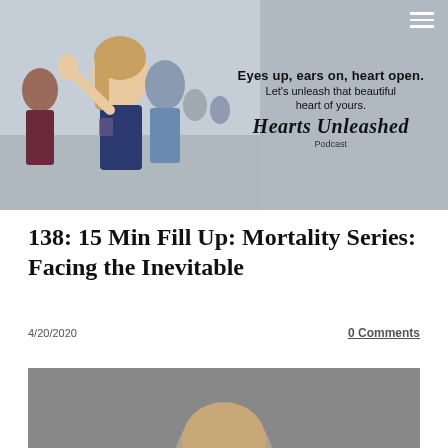[Figure (photo): Banner photo of people at a beach/outdoor setting with a woman smiling and raising her hand, with text overlay: 'Eyes up, ears on, heart open. Let’s unleash that beautiful heart of yours. Hearts Unleashed Podcast']
138: 15 Min Fill Up: Mortality Series: Facing the Inevitable
4/20/2020
0 Comments
[Figure (photo): Partial photo of a person, bottom of page, gray background visible]